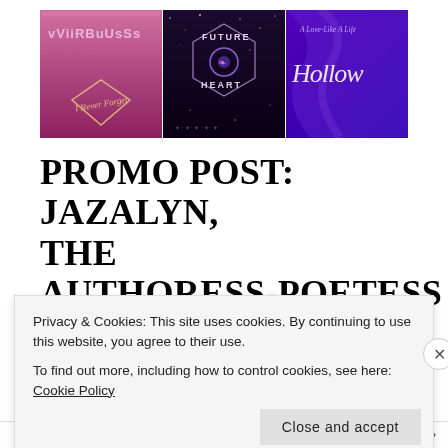[Figure (illustration): Three album/book cover thumbnails side by side: left is pink/purple 'WiirBuUss – I Never Forget', center is dark/star field 'Future Rose Heart', right is purple satin 'A Love Like A Life – Hollow']
PROMO POST: JAZALYN, THE AUTHORESS-POETESS
Privacy & Cookies: This site uses cookies. By continuing to use this website, you agree to their use.
To find out more, including how to control cookies, see here: Cookie Policy
Close and accept